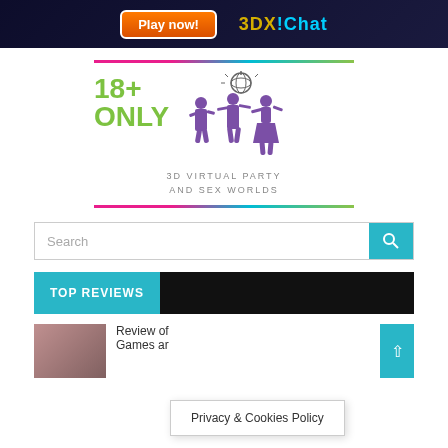[Figure (illustration): Banner advertisement for 3DX Chat with orange Play now button and dark background with figures]
[Figure (logo): 18+ Only logo with green text, purple dancing figures silhouette, disco ball, and tagline 3D VIRTUAL PARTY AND SEX WORLDS, framed by multicolor gradient lines top and bottom]
Search
TOP REVIEWS
Review of Games ar
Privacy & Cookies Policy